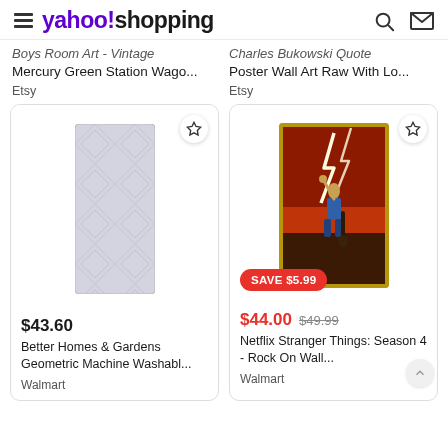yahoo!shopping
Boys Room Art - Vintage Mercury Green Station Wago...
Etsy
Charles Bukowski Quote Poster Wall Art Raw With Lo...
Etsy
[Figure (photo): Gray geometric runner rug with diamond pattern]
[Figure (photo): Netflix Stranger Things Season 4 rock-themed wall art poster with lightning and guitar]
$43.60
Better Homes & Gardens Geometric Machine Washabl...
Walmart
$44.00  $49.99   SAVE $5.99
Netflix Stranger Things: Season 4 - Rock On Wall...
Walmart